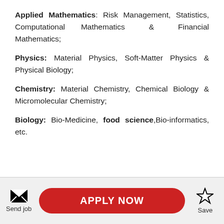Applied Mathematics: Risk Management, Statistics, Computational Mathematics & Financial Mathematics;
Physics: Material Physics, Soft-Matter Physics & Physical Biology;
Chemistry: Material Chemistry, Chemical Biology & Micromolecular Chemistry;
Biology: Bio-Medicine, food science, Bio-informatics, etc.
Send job
APPLY NOW
Save